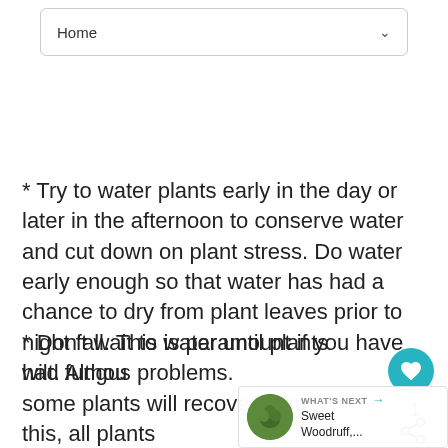Home
* Try to water plants early in the day or later in the afternoon to conserve water and cut down on plant stress. Do water early enough so that water has had a chance to dry from plant leaves prior to night fall. This is paramount if you have had fungus problems.
* Don't wait to water until plants wilt. Although some plants will recover from this, all plants will die if they wilt too much (when they reach the permanent wilting point).